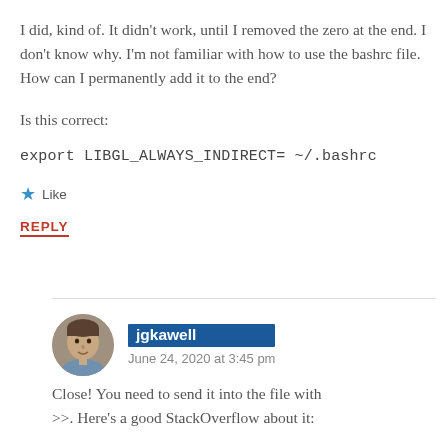I did, kind of. It didn't work, until I removed the zero at the end. I don't know why. I'm not familiar with how to use the bashrc file. How can I permanently add it to the end?
Is this correct:
export LIBGL_ALWAYS_INDIRECT= ~/.bashrc
Like
REPLY
jgkawell
June 24, 2020 at 3:45 pm
Close! You need to send it into the file with >>. Here's a good StackOverflow about it: